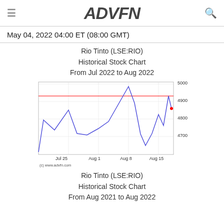ADVFN
May 04, 2022 04:00 ET (08:00 GMT)
Rio Tinto (LSE:RIO)
Historical Stock Chart
From Jul 2022 to Aug 2022
[Figure (line-chart): Line chart showing Rio Tinto LSE:RIO stock price from Jul 2022 to Aug 2022, ranging from ~4700 to ~5000, with a red horizontal reference line at ~4950]
Rio Tinto (LSE:RIO)
Historical Stock Chart
From Aug 2021 to Aug 2022